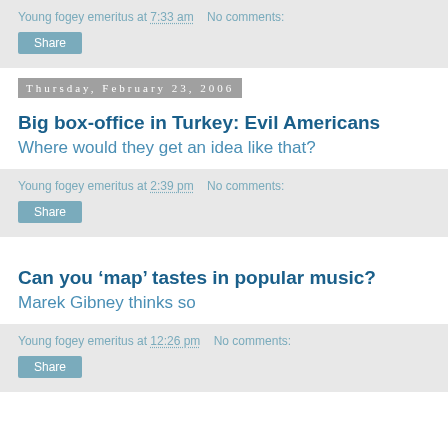Young fogey emeritus at 7:33 am   No comments:
Share
Thursday, February 23, 2006
Big box-office in Turkey: Evil Americans
Where would they get an idea like that?
Young fogey emeritus at 2:39 pm   No comments:
Share
Can you ‘map’ tastes in popular music?
Marek Gibney thinks so
Young fogey emeritus at 12:26 pm   No comments:
Share